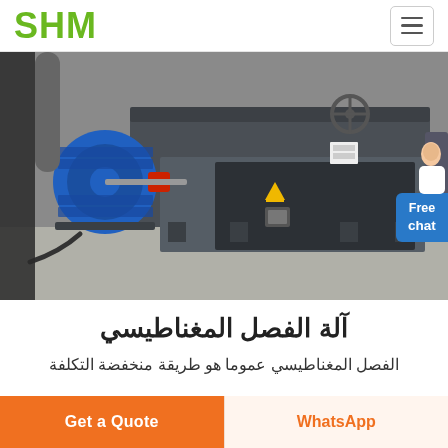SHM
[Figure (photo): Industrial magnetic separation machine with blue electric motor on the left side, large dark grey body, mounted on a concrete floor in a factory setting.]
آلة الفصل المغناطيسي
الفصل المغناطيسي عموما هو طريقة منخفضة التكلفة
Get a Quote
WhatsApp